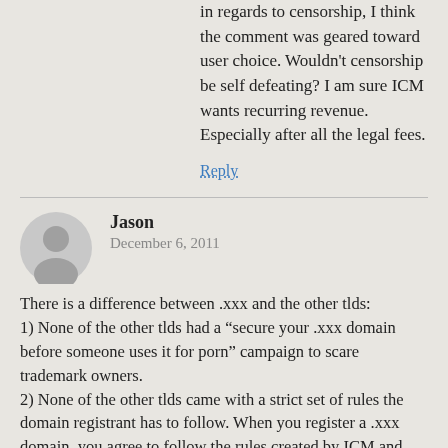in regards to censorship, I think the comment was geared toward user choice. Wouldn't censorship be self defeating? I am sure ICM wants recurring revenue. Especially after all the legal fees.
Reply
Jason
December 6, 2011
There is a difference between .xxx and the other tlds:
1) None of the other tlds had a “secure your .xxx domain before someone uses it for porn” campaign to scare trademark owners.
2) None of the other tlds came with a strict set of rules the domain registrant has to follow. When you register a .xxx domain, you agree to follow the rules created by ICM and IFFOR.
ICM and IFFOR can change those rules in the future if they want. ICM already mentioned they are planning to launch their